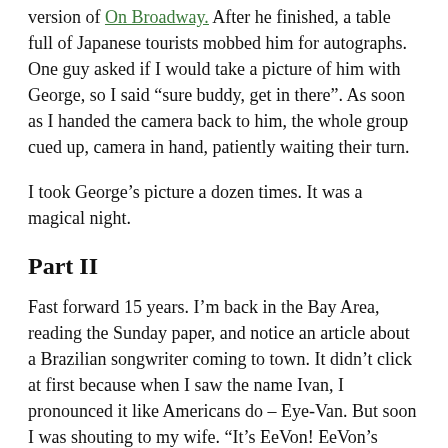version of On Broadway. After he finished, a table full of Japanese tourists mobbed him for autographs. One guy asked if I would take a picture of him with George, so I said “sure buddy, get in there”. As soon as I handed the camera back to him, the whole group cued up, camera in hand, patiently waiting their turn.
I took George’s picture a dozen times. It was a magical night.
Part II
Fast forward 15 years. I’m back in the Bay Area, reading the Sunday paper, and notice an article about a Brazilian songwriter coming to town. It didn’t click at first because when I saw the name Ivan, I pronounced it like Americans do – Eye-Van. But soon I was shouting to my wife. “It’s EeVon! EeVon’s coming to town!”
We bought tickets, and after the show, I talked my way